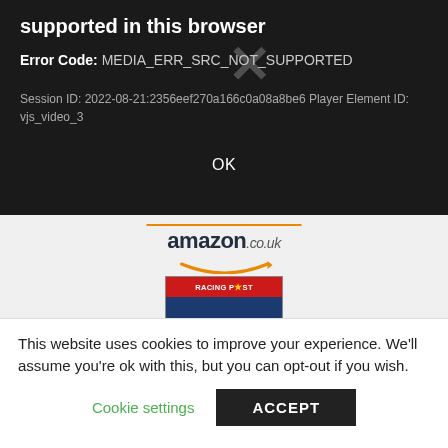supported in this browser
Error Code: MEDIA_ERR_SRC_NOT_SUPPORTED
Session ID: 2022-08-21:2356eef270a166c0a08a8be6 Player Element ID: vjs_video_3
OK
[Figure (logo): Amazon.co.uk logo with orange bar above and smile arrow below]
[Figure (photo): Racing Post magazine cover showing cyclists with text IT'S A DIFFERENT WORLD BUT SOME THINGS NEVER CHANGE]
Racing Post
This website uses cookies to improve your experience. We'll assume you're ok with this, but you can opt-out if you wish.
Cookie settings
ACCEPT